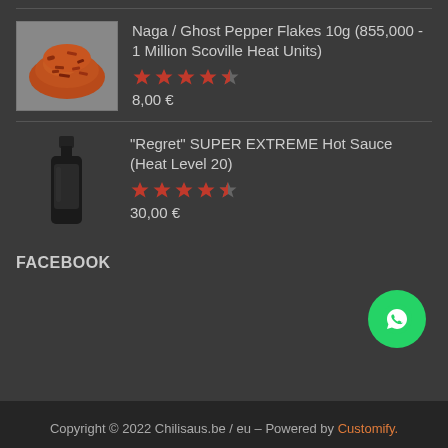[Figure (photo): Red chili flakes / ground pepper spice pile]
Naga / Ghost Pepper Flakes 10g (855,000 - 1 Million Scoville Heat Units)
★★★★★
8,00 €
[Figure (photo): Dark glass bottle of hot sauce]
"Regret" SUPER EXTREME Hot Sauce (Heat Level 20)
★★★★★
30,00 €
FACEBOOK
Copyright © 2022 Chilisaus.be / eu – Powered by Customify.